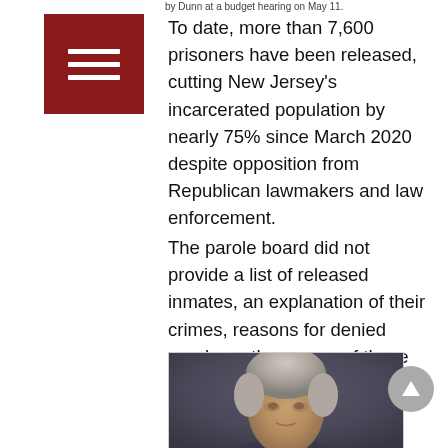by Dunn at a budget hearing on May 11.
[Figure (other): Dark red square icon with three horizontal white lines (hamburger menu icon)]
To date, more than 7,600 prisoners have been released, cutting New Jersey's incarcerated population by nearly 75% since March 2020 despite opposition from Republican lawmakers and law enforcement.
The parole board did not provide a list of released inmates, an explanation of their crimes, reasons for denied parole, or the names of those who later committed other crimes.
[Figure (photo): Portrait photo of a middle-aged man with gray hair against a dark background, formal appearance]